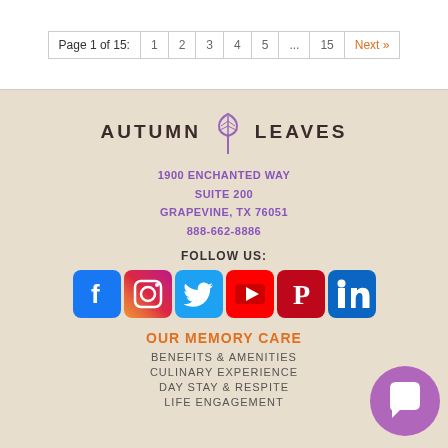Page 1 of 15: 1 2 3 4 5 ... 15 Next »
[Figure (logo): Autumn Leaves logo with a purple leaf icon between the words AUTUMN and LEAVES]
1900 ENCHANTED WAY
SUITE 200
GRAPEVINE, TX 76051
888-662-8886
FOLLOW US:
[Figure (infographic): Social media icons: Facebook, Instagram, Twitter, YouTube, Pinterest, LinkedIn]
OUR MEMORY CARE
BENEFITS & AMENITIES
CULINARY EXPERIENCE
DAY STAY & RESPITE
LIFE ENGAGEMENT